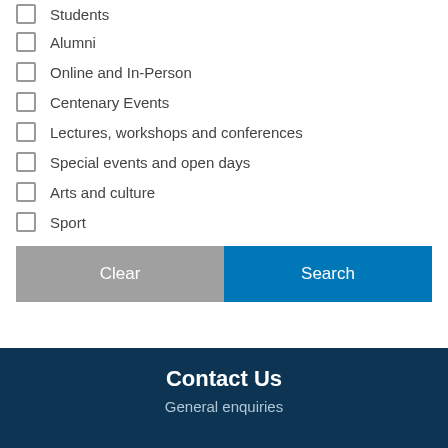Students
Alumni
Online and In-Person
Centenary Events
Lectures, workshops and conferences
Special events and open days
Arts and culture
Sport
Clear  Search
Contact Us
General enquiries